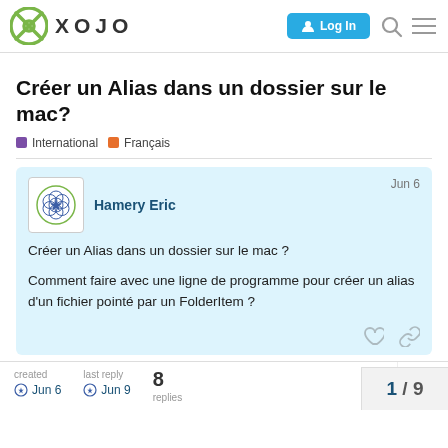XOJO — Log In
Créer un Alias dans un dossier sur le mac?
International  Français
Hamery Eric  Jun 6
Créer un Alias dans un dossier sur le mac ?

Comment faire avec une ligne de programme pour créer un alias d'un fichier pointé par un FolderItem ?
created Jun 6  last reply Jun 9  8 replies  1 / 9